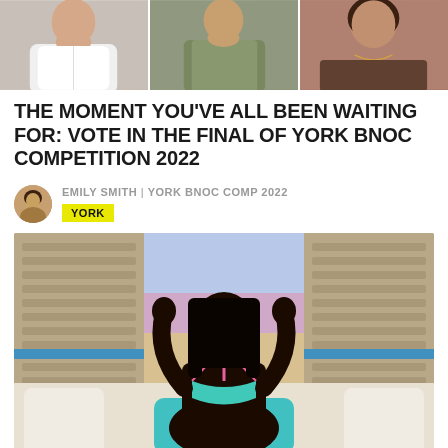[Figure (photo): Three cropped photos side by side: left shows a person in a white top, center shows a person in a green/olive jacket, right shows a person with a necklace]
THE MOMENT YOU'VE ALL BEEN WAITING FOR: VOTE IN THE FINAL OF YORK BNOC COMPETITION 2022
EMILY SMITH | YORK BNOC COMP 2022
YORK
[Figure (photo): A person in a teal/turquoise bikini with arms raised, smiling, sitting on a couch with cushions, background shows a beach scene through a window with wooden shutters]